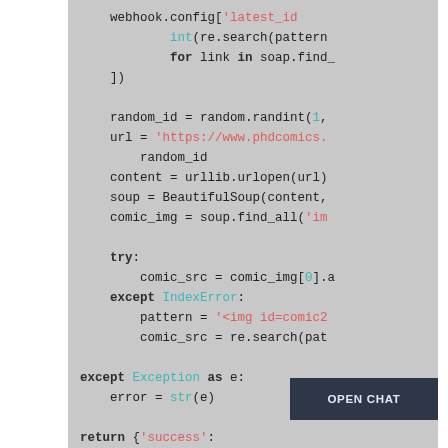[Figure (screenshot): Code snippet showing Python code with syntax highlighting on a gray background. Contains webhook config access, random_id generation, url construction, urllib urlopen call, BeautifulSoup parsing, comic image finding, try/except blocks for IndexError and Exception, and a return statement with 'success' key.]